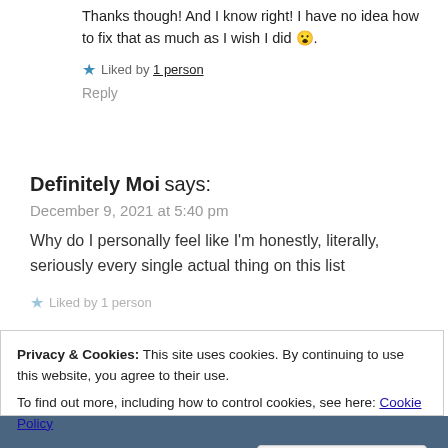Thanks though! And I know right! I have no idea how to fix that as much as I wish I did 😮.
Liked by 1 person
Reply
Definitely Moi says:
December 9, 2021 at 5:40 pm
Why do I personally feel like I'm honestly, literally, seriously every single actual thing on this list
Privacy & Cookies: This site uses cookies. By continuing to use this website, you agree to their use.
To find out more, including how to control cookies, see here: Cookie Policy
Close and accept